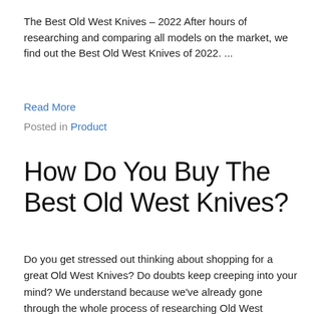The Best Old West Knives – 2022 After hours of researching and comparing all models on the market, we find out the Best Old West Knives of 2022. ...
Read More
Posted in Product
How Do You Buy The Best Old West Knives?
Do you get stressed out thinking about shopping for a great Old West Knives? Do doubts keep creeping into your mind? We understand because we've already gone through the whole process of researching Old West Knives, which is why we have assembled a comprehensive list of the most sought Old West Knives available in the market today, ...